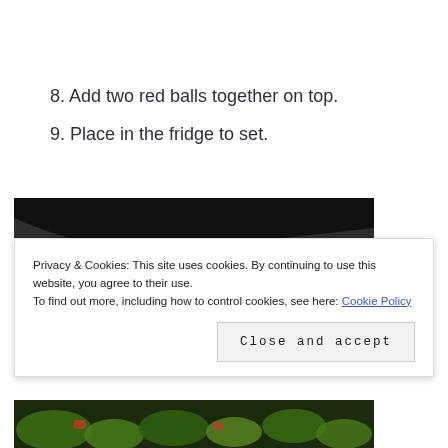8. Add two red balls together on top.
9. Place in the fridge to set.
[Figure (photo): Photo of food items (green and red pieces) on a dark background, partially visible at top and bottom of the page.]
Privacy & Cookies: This site uses cookies. By continuing to use this website, you agree to their use.
To find out more, including how to control cookies, see here: Cookie Policy
Close and accept